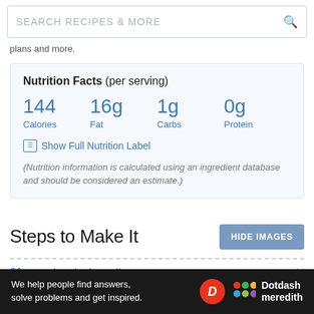[Figure (screenshot): Search bar with placeholder text SEARCH RECIPES & MORE and a magnifying glass icon on the right]
plans and more.
| Calories | Fat | Carbs | Protein |
| --- | --- | --- | --- |
| 144 | 16g | 1g | 0g |
Show Full Nutrition Label
(Nutrition information is calculated using an ingredient database and should be considered an estimate.)
Steps to Make It
01 Gather the ingredients
[Figure (screenshot): Dotdash Meredith advertisement banner: We help people find answers, solve problems and get inspired.]